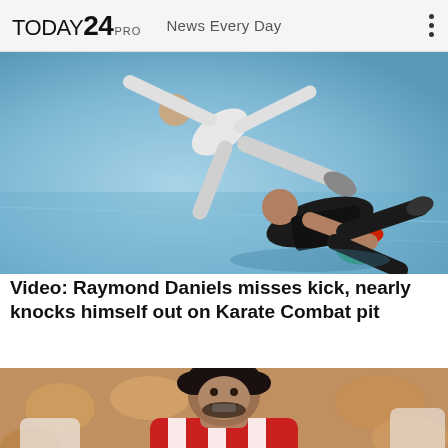TODAY 24 PRO   News Every Day
[Figure (photo): Two martial artists in combat — one performer in black shorts doing an aerial spinning kick while the other is on the ground during a Karate Combat match on a mat surface.]
Video: Raymond Daniels misses kick, nearly knocks himself out on Karate Combat pit
[Figure (photo): A smiling soccer player wearing a red and white striped jersey with Hyundai logo, photographed during a match with blurred crowd in background.]